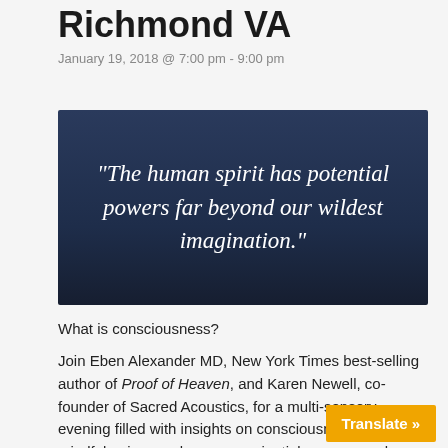Richmond VA
January 19, 2018 @ 7:00 pm - 9:00 pm
[Figure (photo): Dark blue banner image with italic serif quote text: “The human spirit has potential powers far beyond our wildest imagination.”]
What is consciousness?
Join Eben Alexander MD, New York Times best-selling author of Proof of Heaven, and Karen Newell, co-founder of Sacred Acoustics, for a multi-sensory evening filled with insights on consciousness and the mindful universe plus an experiential group sound journey.